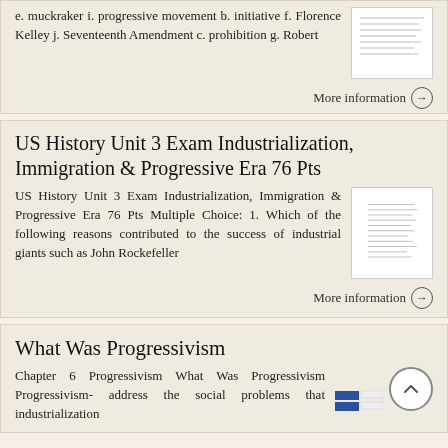e. muckraker i. progressive movement b. initiative f. Florence Kelley j. Seventeenth Amendment c. prohibition g. Robert
[Figure (screenshot): Thumbnail image of a document page with text lines]
More information →
US History Unit 3 Exam Industrialization, Immigration & Progressive Era 76 Pts
US History Unit 3 Exam Industrialization, Immigration & Progressive Era 76 Pts Multiple Choice: 1. Which of the following reasons contributed to the success of industrial giants such as John Rockefeller
[Figure (screenshot): Thumbnail image of a document with multiple lines of text]
More information →
What Was Progressivism
Chapter 6 Progressivism What Was Progressivism Progressivism- address the social problems that industrialization
[Figure (screenshot): Thumbnail showing blue slide thumbnails]